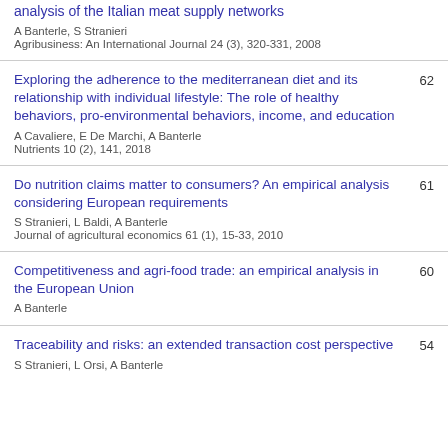analysis of the Italian meat supply networks
A Banterle, S Stranieri
Agribusiness: An International Journal 24 (3), 320-331, 2008
Exploring the adherence to the mediterranean diet and its relationship with individual lifestyle: The role of healthy behaviors, pro-environmental behaviors, income, and education
A Cavaliere, E De Marchi, A Banterle
Nutrients 10 (2), 141, 2018
Do nutrition claims matter to consumers? An empirical analysis considering European requirements
S Stranieri, L Baldi, A Banterle
Journal of agricultural economics 61 (1), 15-33, 2010
Competitiveness and agri-food trade: an empirical analysis in the European Union
A Banterle
Traceability and risks: an extended transaction cost perspective
S Stranieri, L Orsi, A Banterle